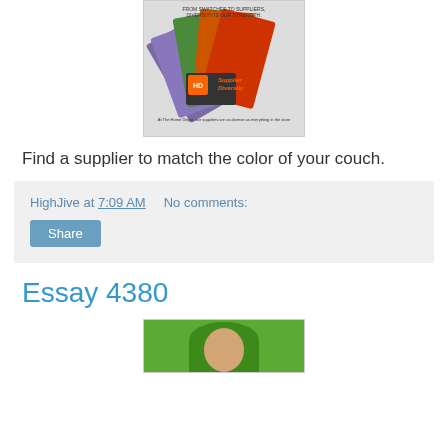[Figure (illustration): Home Depot Supplier Diversity advertisement showing paint swatches fanned out with diverse faces and text 'FROM SWATCHES TO SUPPLIERS, DIVERSITY IS OUR STRENGTH.' and 'Supplier Diversity' branding]
Find a supplier to match the color of your couch.
HighJive at 7:09 AM    No comments:
Share
Essay 4380
[Figure (photo): Partial photo showing a person wearing a green hat, cropped at bottom of page]